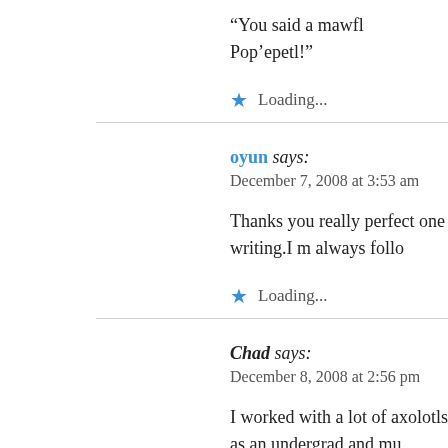“You said a mawfl Pop’epetl!”
Loading...
oyun says:
December 7, 2008 at 3:53 am
Thanks you really perfect one writing.I m always follo
Loading...
Chad says:
December 8, 2008 at 2:56 pm
I worked with a lot of axolotls as an undergrad and mu
rap simply for looking goofy. I’m glad I don’t work wi